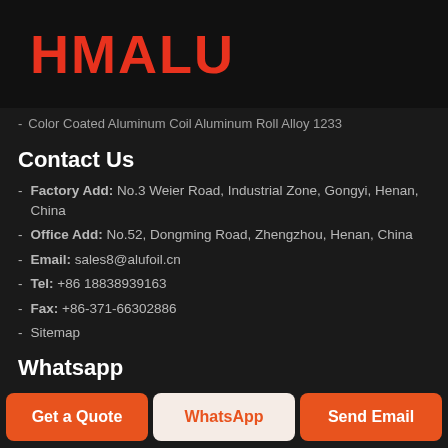[Figure (logo): HMALU logo in bold red text on dark background]
- Color Coated Aluminum Coil Aluminum Roll Alloy 1233
Contact Us
- Factory Add: No.3 Weier Road, Industrial Zone, Gongyi, Henan, China
- Office Add: No.52, Dongming Road, Zhengzhou, Henan, China
- Email: sales8@alufoil.cn
- Tel: +86 18838939163
- Fax: +86-371-66302886
- Sitemap
Whatsapp
Get a Quote | WhatsApp | Send Email